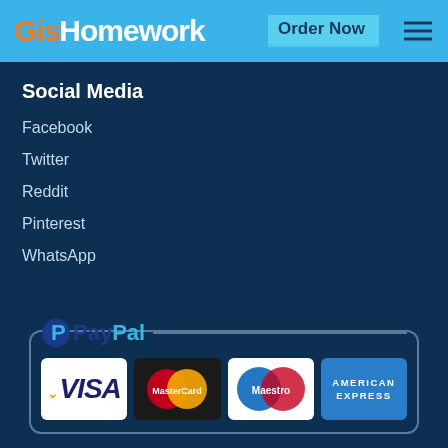GisHomework   Order Now
Social Media
Facebook
Twitter
Reddit
Pinterest
WhatsApp
[Figure (logo): PayPal logo with payment card logos: VISA, MasterCard, Maestro, American Express]